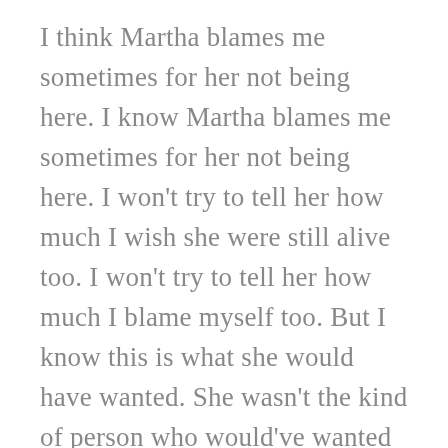I think Martha blames me sometimes for her not being here. I know Martha blames me sometimes for her not being here. I won't try to tell her how much I wish she were still alive too. I won't try to tell her how much I blame myself too. But I know this is what she would have wanted. She wasn't the kind of person who would've wanted to be kept alive by machines. She wasn't even the kind of person who would've wanted to sleep in a moving bed.
The bed is the only thing left in the room except for the hatbox. I've never seen